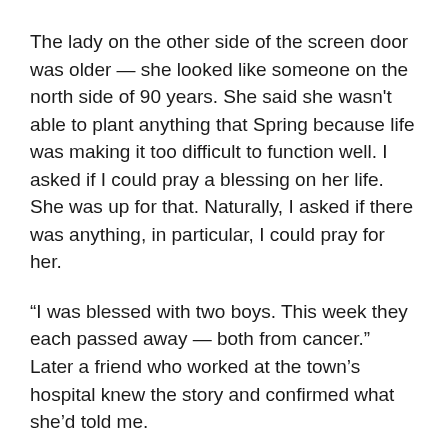The lady on the other side of the screen door was older — she looked like someone on the north side of 90 years. She said she wasn't able to plant anything that Spring because life was making it too difficult to function well. I asked if I could pray a blessing on her life. She was up for that. Naturally, I asked if there was anything, in particular, I could pray for her.
“I was blessed with two boys. This week they each passed away — both from cancer.” Later a friend who worked at the town’s hospital knew the story and confirmed what she’d told me.
Instead of taking the seeds and without opening her outside door, she simply placed her palm on the screen.